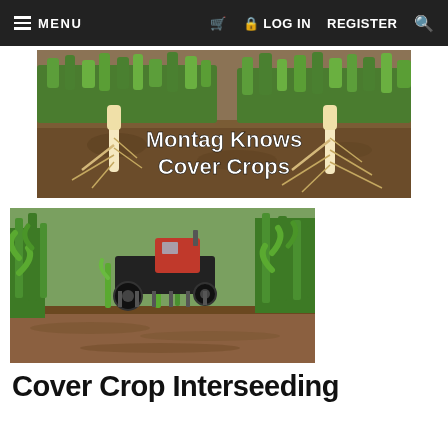MENU  LOG IN  REGISTER
[Figure (photo): Cross-section illustration showing cover crops growing above ground with root systems visible below soil, with text overlay 'Montag Knows Cover Crops']
[Figure (photo): Agricultural machinery (planter/seeder) driving between rows of corn/maize plants in a field during interseeding operation]
Cover Crop Interseeding